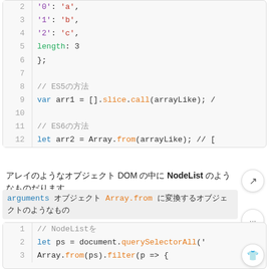[Figure (screenshot): Code block showing lines 2-12 of JavaScript array-like object and ES5/ES6 conversion code]
アレイのようなオブジェクト DOM の中に NodeList のようなものだります
arguments オブジェクト Array.from に変換するオブジェクトのようなもの
[Figure (screenshot): Code block showing lines 1-3 of NodeList example with querySelectorAll and Array.from filter]